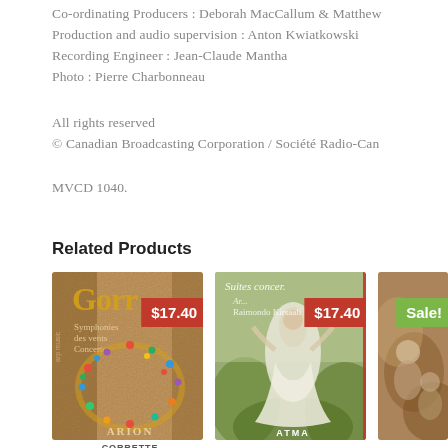Co-ordinating Producers : Deborah MacCallum & Matthew
Production and audio supervision : Anton Kwiatkowski
Recording Engineer : Jean-Claude Mantha
Photo : Pierre Charbonneau
All rights reserved
© Canadian Broadcasting Corporation / Société Radio-Can
MVCD 1040.
Related Products
[Figure (photo): Album cover for Corrette with an ornate bead necklace arrangement on textured background, ARION label. Price tag $17.40.]
[Figure (photo): Album cover for Suites concer. showing a dancing figure in white dress, ATMA label. Price tag $17.40.]
[Figure (photo): Album cover partially visible with Sale! tag in green.]
CORRETTE
ATMA